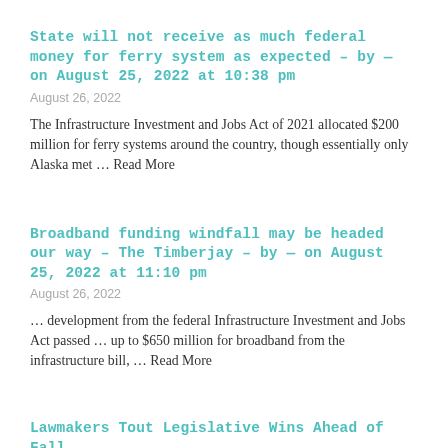State will not receive as much federal money for ferry system as expected – by — on August 25, 2022 at 10:38 pm
August 26, 2022
The Infrastructure Investment and Jobs Act of 2021 allocated $200 million for ferry systems around the country, though essentially only Alaska met … Read More
Broadband funding windfall may be headed our way – The Timberjay – by — on August 25, 2022 at 11:10 pm
August 26, 2022
… development from the federal Infrastructure Investment and Jobs Act passed … up to $650 million for broadband from the infrastructure bill, … Read More
Lawmakers Tout Legislative Wins Ahead of Fall